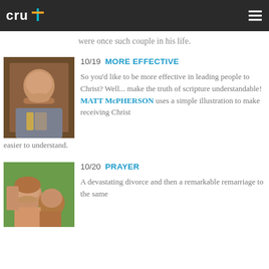cru
were once such couple in his life.
[Figure (photo): Headshot of a man with beard in a suit and tie, brown wood background]
10/19  MORE EFFECTIVE
So you'd like to be more effective in leading people to Christ? Well... make the truth of scripture understandable! MATT McPHERSON uses a simple illustration to make receiving Christ easier to understand.
[Figure (photo): Couple smiling outdoors with green foliage background]
10/20  PRAYER
A devastating divorce and then a remarkable remarriage to the same